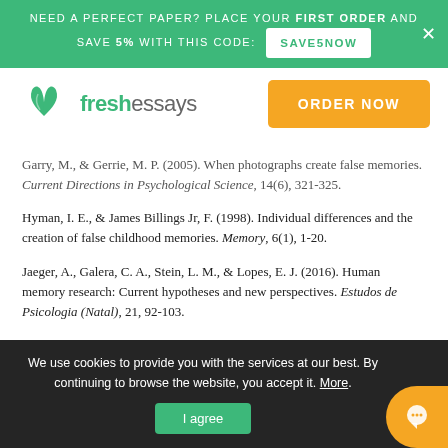NEED A PERFECT PAPER? PLACE YOUR FIRST ORDER AND SAVE 5% WITH THIS CODE: SAVE5NOW
[Figure (logo): FreshEssays logo with green open book icon and text 'freshessays', alongside orange 'ORDER NOW' button]
Garry, M., & Gerrie, M. P. (2005). When photographs create false memories. Current Directions in Psychological Science, 14(6), 321-325.
Hyman, I. E., & James Billings Jr, F. (1998). Individual differences and the creation of false childhood memories. Memory, 6(1), 1-20.
Jaeger, A., Galera, C. A., Stein, L. M., & Lopes, E. J. (2016). Human memory research: Current hypotheses and new perspectives. Estudos de Psicologia (Natal), 21, 92-103.
We use cookies to provide you with the services at our best. By continuing to browse the website, you accept it. More. I agree